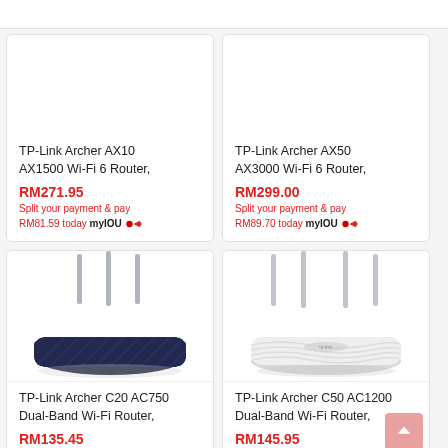TP-Link Archer AX10 AX1500 Wi-Fi 6 Router,
RM271.95
Split your payment & pay RM81.59 today myIOU
TP-Link Archer AX50 AX3000 Wi-Fi 6 Router,
RM299.00
Split your payment & pay RM89.70 today myIOU
[Figure (photo): TP-Link Archer C20 AC750 Dual-Band Wi-Fi Router, dark navy color, with 3 antennas]
[Figure (photo): TP-Link Archer C50 AC1200 Dual-Band Wi-Fi Router, white color, with 4 antennas]
TP-Link Archer C20 AC750 Dual-Band Wi-Fi Router,
RM135.45
TP-Link Archer C50 AC1200 Dual-Band Wi-Fi Router,
RM145.95